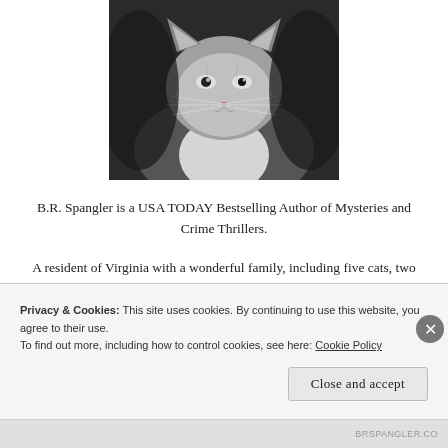[Figure (photo): Black and white photograph of a cat looking upward, close-up portrait style]
B.R. Spangler is a USA TODAY Bestselling Author of Mysteries and Crime Thrillers.
A resident of Virginia with a wonderful family, including five cats, two birds and a lizard. During the day, the hours are filled with engineering work. Off
Privacy & Cookies: This site uses cookies. By continuing to use this website, you agree to their use.
To find out more, including how to control cookies, see here: Cookie Policy
Close and accept